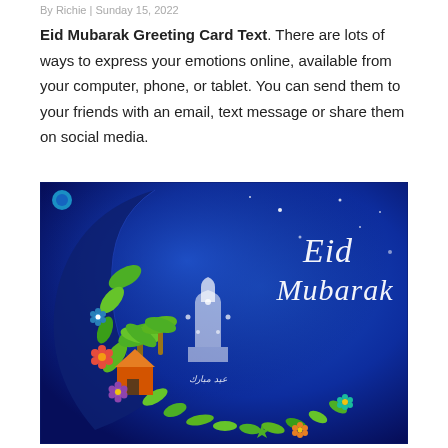By Richie | Sunday 15, 2022
Eid Mubarak Greeting Card Text. There are lots of ways to express your emotions online, available from your computer, phone, or tablet. You can send them to your friends with an email, text message or share them on social media.
[Figure (illustration): Eid Mubarak greeting card with a crescent moon shape decorated with colorful flowers, leaves, a mosque, and palm trees on a deep blue gradient background. Text reads 'Eid Mubarak' in white cursive letters and Arabic calligraphy below.]